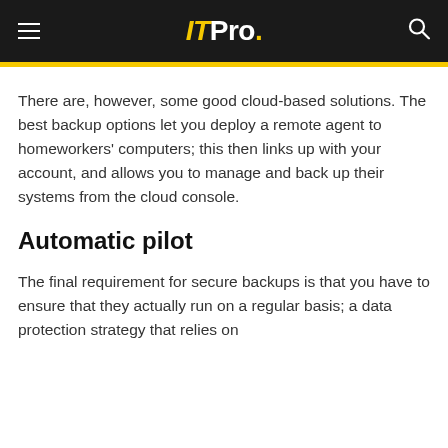ITPro.
There are, however, some good cloud-based solutions. The best backup options let you deploy a remote agent to homeworkers' computers; this then links up with your account, and allows you to manage and back up their systems from the cloud console.
Automatic pilot
The final requirement for secure backups is that you have to ensure that they actually run on a regular basis; a data protection strategy that relies on